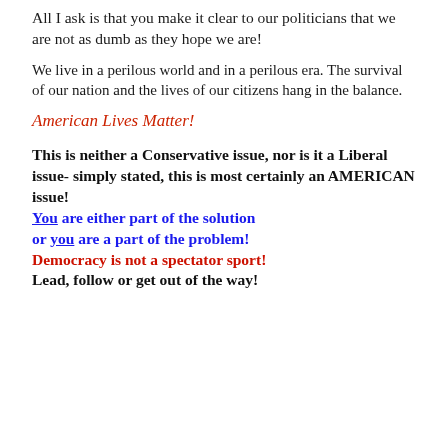All I ask is that you make it clear to our politicians that we are not as dumb as they hope we are!
We live in a perilous world and in a perilous era. The survival of our nation and the lives of our citizens hang in the balance.
American Lives Matter!
This is neither a Conservative issue, nor is it a Liberal issue- simply stated, this is most certainly an AMERICAN issue! You are either part of the solution or you are a part of the problem! Democracy is not a spectator sport! Lead, follow or get out of the way!